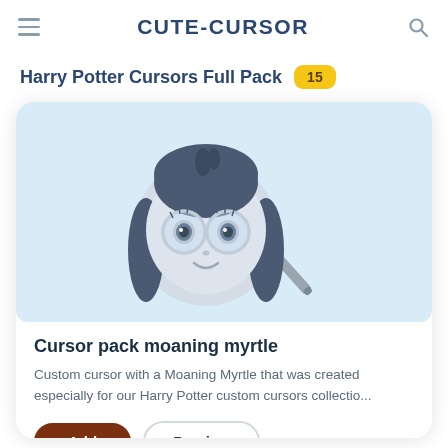CUTE-CURSOR
Harry Potter Cursors Full Pack 15
[Figure (illustration): Illustration of Moaning Myrtle character face with round glasses and pigtails, and a magic wand on a light blue background]
Cursor pack moaning myrtle
Custom cursor with a Moaning Myrtle that was created especially for our Harry Potter custom cursors collectio...
Add  Preview